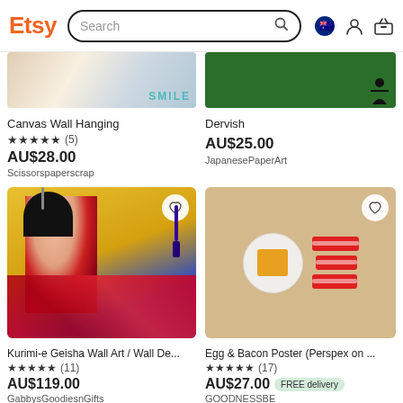Etsy Search
[Figure (screenshot): Partial product image for Canvas Wall Hanging showing decorative items and SMILE text]
Canvas Wall Hanging
★★★★★ (5)
AU$28.00
Scissorspaperscrap
[Figure (screenshot): Partial product image for Dervish showing green background with black figure]
Dervish
AU$25.00
JapanesePaperArt
[Figure (photo): Kurimi-e Geisha Wall Art showing Japanese geisha in colorful kimono with ornaments]
Kurimi-e Geisha Wall Art / Wall De...
★★★★★ (11)
AU$119.00
GabbysGoodiesnGifts
[Figure (photo): Egg and Bacon poster showing perspex egg and bacon pieces on wooden board]
Egg & Bacon Poster (Perspex on ...
★★★★★ (17)
AU$27.00 FREE delivery
GOODNESSBE